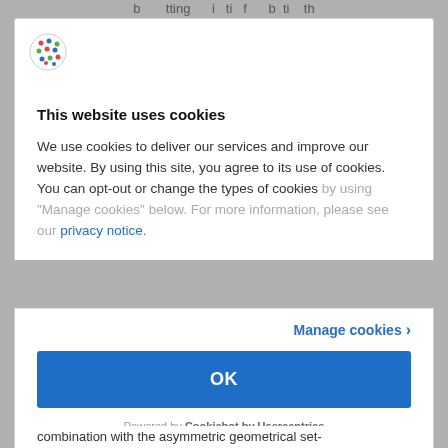b … tting … i ti f … b ti … th
[Figure (logo): Cookiebot by Usercentrics colorful dot-grid circular logo]
This website uses cookies
We use cookies to deliver our services and improve our website. By using this site, you agree to its use of cookies. You can opt-out or change the types of cookies by using “Manage cookies” below. For more information, please see our privacy notice.
Manage cookies ›
OK
Powered by Cookiebot by Usercentrics
combination with the asymmetric geometrical set-